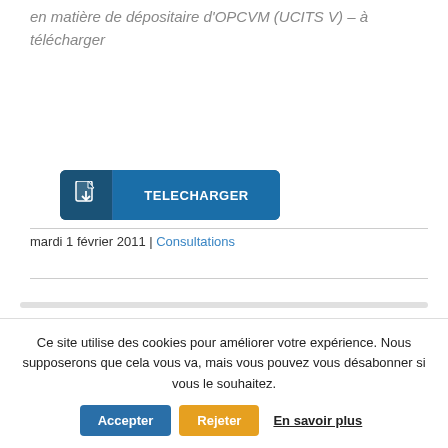en matière de dépositaire d'OPCVM (UCITS V) – à télécharger
[Figure (other): Blue download button with file icon on left and 'TELECHARGER' label on right]
mardi 1 février 2011 | Consultations
Ce site utilise des cookies pour améliorer votre expérience. Nous supposerons que cela vous va, mais vous pouvez vous désabonner si vous le souhaitez. Accepter  Rejeter  En savoir plus